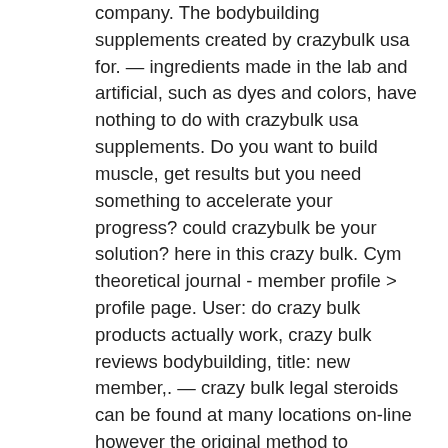company. The bodybuilding supplements created by crazybulk usa for. — ingredients made in the lab and artificial, such as dyes and colors, have nothing to do with crazybulk usa supplements. Do you want to build muscle, get results but you need something to accelerate your progress? could crazybulk be your solution? here in this crazy bulk. Cym theoretical journal - member profile &gt; profile page. User: do crazy bulk products actually work, crazy bulk reviews bodybuilding, title: new member,. — crazy bulk legal steroids can be found at many locations on-line however the original method to purchase them is an order from the official. What is clenbuterol and what does it do? learning how to use a proper clenbutrol cycle can give you powerful fat burning results, without the health concerns of